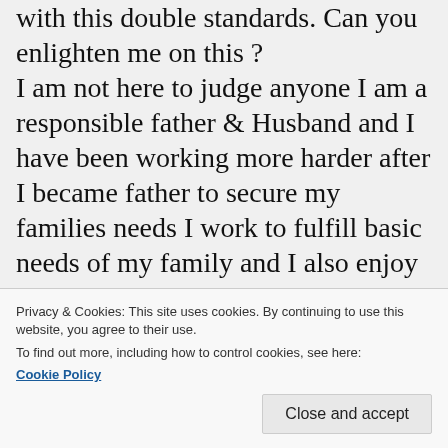with this double standards. Can you enlighten me on this ?
I am not here to judge anyone I am a responsible father & Husband and I have been working more harder after I became father to secure my families needs I work to fulfill basic needs of my family and I also enjoy my work because I see as a lifestyle instead to looking work as a pot of gold.
After working my full hours I spent 2 hours in the evening after work with my baby I fees him and then I put him to sleep also, I
Privacy & Cookies: This site uses cookies. By continuing to use this website, you agree to their use.
To find out more, including how to control cookies, see here:
Cookie Policy
and do dishes when needed.